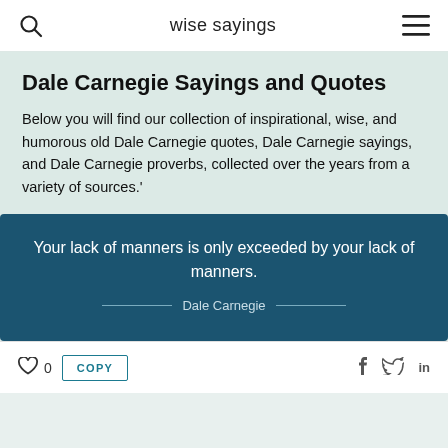wise sayings
Dale Carnegie Sayings and Quotes
Below you will find our collection of inspirational, wise, and humorous old Dale Carnegie quotes, Dale Carnegie sayings, and Dale Carnegie proverbs, collected over the years from a variety of sources.'
Your lack of manners is only exceeded by your lack of manners. — Dale Carnegie